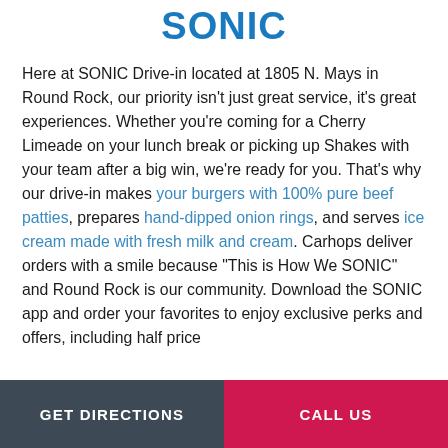SONIC
Here at SONIC Drive-in located at 1805 N. Mays in Round Rock, our priority isn't just great service, it's great experiences. Whether you're coming for a Cherry Limeade on your lunch break or picking up Shakes with your team after a big win, we're ready for you. That's why our drive-in makes your burgers with 100% pure beef patties, prepares hand-dipped onion rings, and serves ice cream made with fresh milk and cream. Carhops deliver orders with a smile because "This is How We SONIC" and Round Rock is our community. Download the SONIC app and order your favorites to enjoy exclusive perks and offers, including half price
GET DIRECTIONS   CALL US